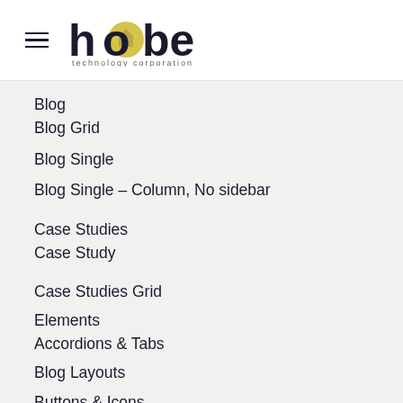hobe technology corporation
Blog
Blog Grid
Blog Single
Blog Single – Column, No sidebar
Case Studies
Case Study
Case Studies Grid
Elements
Accordions & Tabs
Blog Layouts
Buttons & Icons
Cards
Cost Calculator
Countdown & Counter
Google Maps